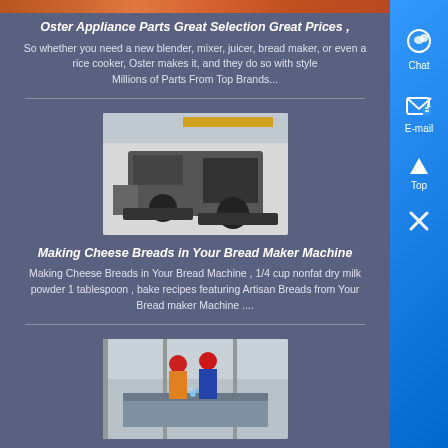[Figure (photo): Partial top image of what appears to be food or orange/red textured surface, cropped at top of page]
Oster Appliance Parts Great Selection Great Prices ,
So whether you need a new blender, mixer, juicer, bread maker, or even a rice cooker, Oster makes it, and they do so with style
Millions of Parts From Top Brands...
[Figure (photo): Industrial machinery / rock crusher in a warehouse or factory setting with a yellow overhead crane beam visible]
Making Cheese Breads in Your Bread Maker Machine
Making Cheese Breads in Your Bread Machine , 1/4 cup nonfat dry milk powder 1 tablespoon , bake recipes featuring Artisan Breads from Your Bread maker Machine ....
[Figure (photo): Workers in red hard hats and protective gear welding or working on heavy industrial equipment, sparks visible]